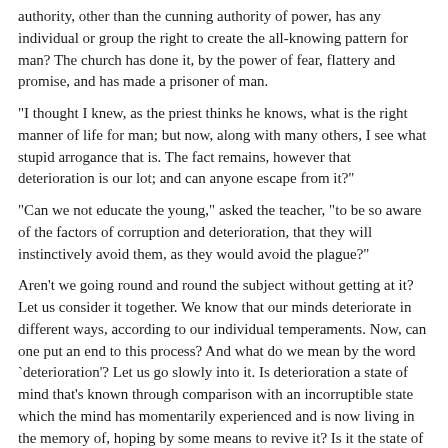authority, other than the cunning authority of power, has any individual or group the right to create the all-knowing pattern for man? The church has done it, by the power of fear, flattery and promise, and has made a prisoner of man.
"I thought I knew, as the priest thinks he knows, what is the right manner of life for man; but now, along with many others, I see what stupid arrogance that is. The fact remains, however that deterioration is our lot; and can anyone escape from it?"
"Can we not educate the young," asked the teacher, "to be so aware of the factors of corruption and deterioration, that they will instinctively avoid them, as they would avoid the plague?"
Aren't we going round and round the subject without getting at it? Let us consider it together. We know that our minds deteriorate in different ways, according to our individual temperaments. Now, can one put an end to this process? And what do we mean by the word `deterioration'? Let us go slowly into it. Is deterioration a state of mind that's known through comparison with an incorruptible state which the mind has momentarily experienced and is now living in the memory of, hoping by some means to revive it? Is it the state of a mind that is frustrated in its desire for success, self-fulfilment, and so on? Has the mind tried and failed to become something, and does it therefore feel itself to be deteriorating?